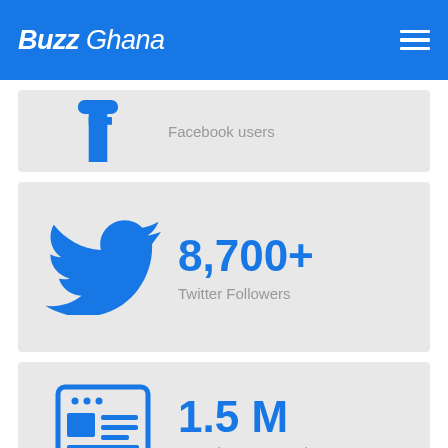Buzz Ghana
[Figure (infographic): Facebook icon (blue F) with stat: Facebook users]
Facebook users
[Figure (infographic): Twitter bird icon (blue) with stat: 8,700+ Twitter Followers]
8,700+
Twitter Followers
[Figure (infographic): Newspaper/article icon (blue) with stat: 1.5 M Pageviews per month]
1.5 M
Pageviews per month